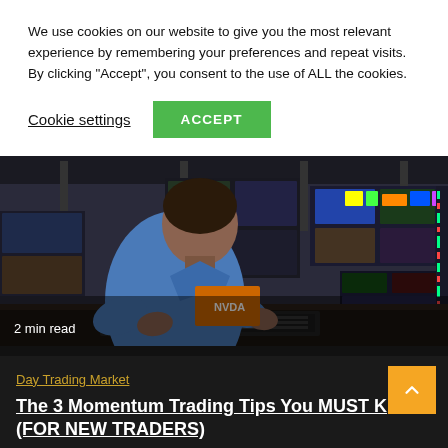We use cookies on our website to give you the most relevant experience by remembering your preferences and repeat visits. By clicking "Accept", you consent to the use of ALL the cookies.
Cookie settings | ACCEPT
[Figure (photo): A man in a blue polo shirt sits at a trading desk surrounded by multiple monitors displaying financial data and colorful screens.]
2 min read
Day Trading Market
The 3 Momentum Trading Tips You MUST K... (FOR NEW TRADERS)